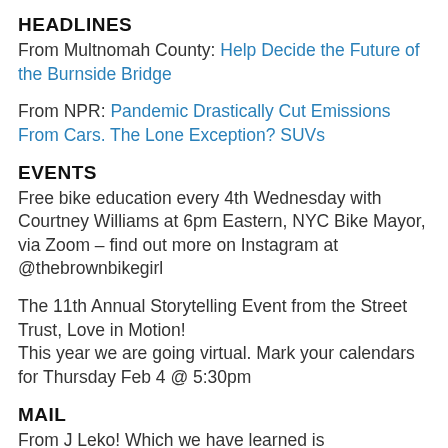HEADLINES
From Multnomah County: Help Decide the Future of the Burnside Bridge
From NPR: Pandemic Drastically Cut Emissions From Cars. The Lone Exception? SUVs
EVENTS
Free bike education every 4th Wednesday with Courtney Williams at 6pm Eastern, NYC Bike Mayor, via Zoom – find out more on Instagram at @thebrownbikegirl
The 11th Annual Storytelling Event from the Street Trust, Love in Motion!
This year we are going virtual. Mark your calendars for Thursday Feb 4 @ 5:30pm
MAIL
From J Leko! Which we have learned is